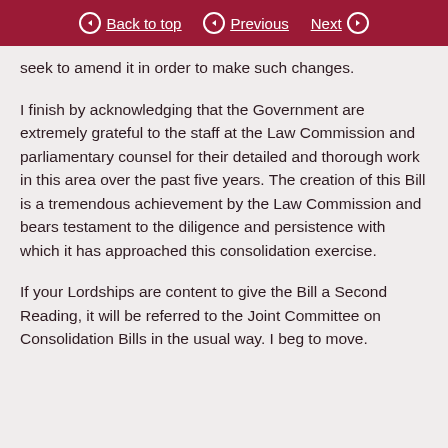Back to top | Previous | Next
seek to amend it in order to make such changes.
I finish by acknowledging that the Government are extremely grateful to the staff at the Law Commission and parliamentary counsel for their detailed and thorough work in this area over the past five years. The creation of this Bill is a tremendous achievement by the Law Commission and bears testament to the diligence and persistence with which it has approached this consolidation exercise.
If your Lordships are content to give the Bill a Second Reading, it will be referred to the Joint Committee on Consolidation Bills in the usual way. I beg to move.